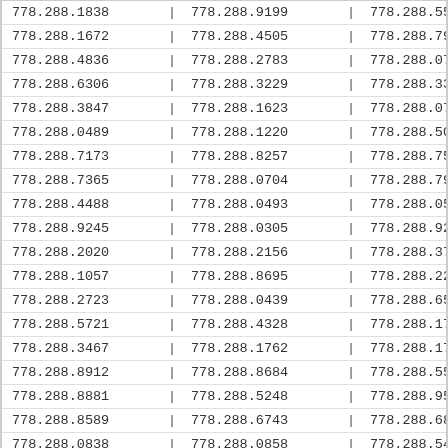| 778.288.1838 | | | 778.288.9199 | | | 778.288.5542 | | |
| 778.288.1672 | | | 778.288.4505 | | | 778.288.7972 | | |
| 778.288.4836 | | | 778.288.2783 | | | 778.288.0751 | | |
| 778.288.6306 | | | 778.288.3229 | | | 778.288.3377 | | |
| 778.288.3847 | | | 778.288.1623 | | | 778.288.0720 | | |
| 778.288.0489 | | | 778.288.1220 | | | 778.288.5034 | | |
| 778.288.7173 | | | 778.288.8257 | | | 778.288.7530 | | |
| 778.288.7365 | | | 778.288.0704 | | | 778.288.7907 | | |
| 778.288.4488 | | | 778.288.0493 | | | 778.288.0530 | | |
| 778.288.9245 | | | 778.288.0305 | | | 778.288.9272 | | |
| 778.288.2020 | | | 778.288.2156 | | | 778.288.3741 | | |
| 778.288.1057 | | | 778.288.8695 | | | 778.288.2250 | | |
| 778.288.2723 | | | 778.288.0439 | | | 778.288.6581 | | |
| 778.288.5721 | | | 778.288.4328 | | | 778.288.1753 | | |
| 778.288.3467 | | | 778.288.1762 | | | 778.288.1773 | | |
| 778.288.8912 | | | 778.288.8684 | | | 778.288.5500 | | |
| 778.288.8881 | | | 778.288.5248 | | | 778.288.9560 | | |
| 778.288.8589 | | | 778.288.6743 | | | 778.288.6807 | | |
| 778.288.0838 | | | 778.288.0858 | | | 778.288.5484 | | |